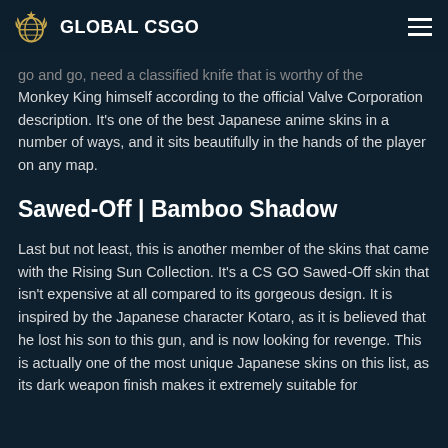GLOBAL CSGO
go and go, need a classified knife that is worthy of the Monkey King himself according to the official Valve Corporation description. It's one of the best Japanese anime skins in a number of ways, and it sits beautifully in the hands of the player on any map.
Sawed-Off | Bamboo Shadow
Last but not least, this is another member of the skins that came with the Rising Sun Collection. It's a CS GO Sawed-Off skin that isn't expensive at all compared to its gorgeous design. It is inspired by the Japanese character Kotaro, as it is believed that he lost his son to this gun, and is now looking for revenge. This is actually one of the most unique Japanese skins on this list, as its dark weapon finish makes it extremely suitable for